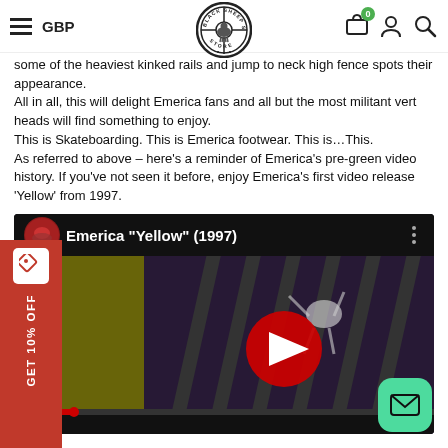Navigation bar with hamburger menu, GBP label, Black Sheep Skateboard Store logo, cart icon with badge '0', user icon, search icon
some of the heaviest kinked rails and jump to neck high fence spots their appearance.
All in all, this will delight Emerica fans and all but the most militant vert heads will find something to enjoy.
This is Skateboarding. This is Emerica footwear. This is...This.
As referred to above – here's a reminder of Emerica's pre-green video history. If you've not seen it before, enjoy Emerica's first video release 'Yellow' from 1997.
[Figure (screenshot): Embedded YouTube video player showing Emerica 'Yellow' (1997) skateboarding video with red play button, thumbnail showing skater on rail]
[Figure (infographic): Red vertical sidebar promo badge reading 'GET 10% OFF' with discount tag icon]
[Figure (other): Green rounded square email/contact button at bottom right]